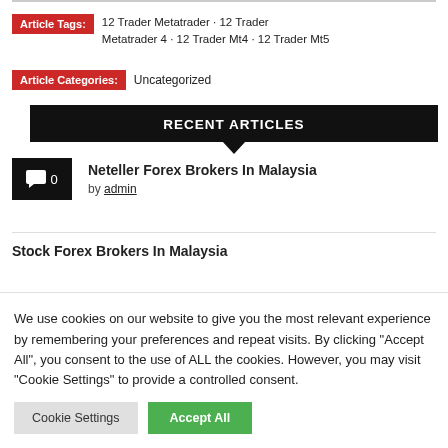Article Tags: 12 Trader Metatrader · 12 Trader Metatrader 4 · 12 Trader Mt4 · 12 Trader Mt5
Article Categories: Uncategorized
RECENT ARTICLES
Neteller Forex Brokers In Malaysia by admin
Stock Forex Brokers In Malaysia
We use cookies on our website to give you the most relevant experience by remembering your preferences and repeat visits. By clicking "Accept All", you consent to the use of ALL the cookies. However, you may visit "Cookie Settings" to provide a controlled consent.